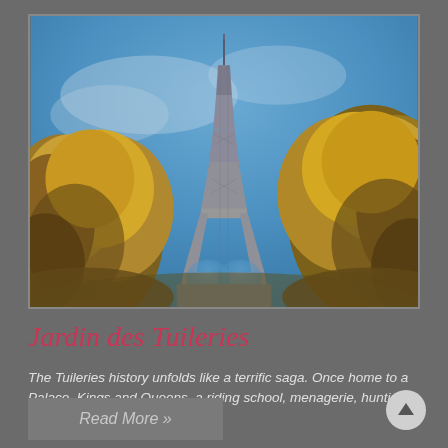[Figure (photo): Photo of the Eiffel Tower viewed from below through autumn-colored trees with orange and yellow foliage against a blue sky]
Jardin des Tuileries
The Tuileries history unfolds like a terrific saga. Once home to a Palace, Kings and Queens, a riding school, menagerie, hunting, fire and massacre.